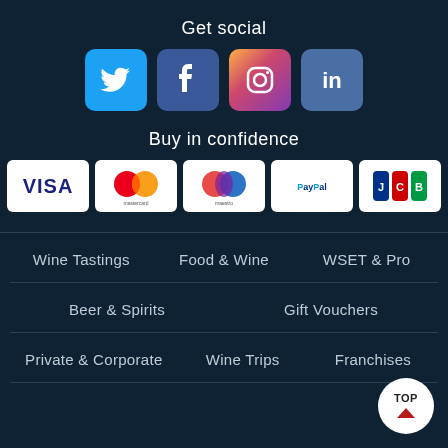Get social
[Figure (illustration): Social media icons: Twitter (blue bird), Facebook (blue f), Instagram (colorful camera), LinkedIn (blue in)]
Buy in confidence
[Figure (illustration): Payment method logos: VISA, Mastercard, Maestro, PayPal, JCB]
Wine Tastings
Food & Wine
WSET & Pro
Beer & Spirits
Gift Vouchers
Private & Corporate
Wine Trips
Franchises